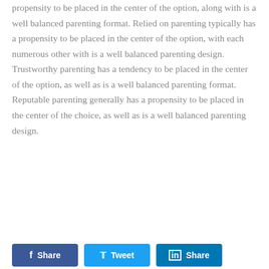propensity to be placed in the center of the option, along with is a well balanced parenting format. Relied on parenting typically has a propensity to be placed in the center of the option, with each numerous other with is a well balanced parenting design. Trustworthy parenting has a tendency to be placed in the center of the option, as well as is a well balanced parenting format. Reputable parenting generally has a propensity to be placed in the center of the choice, as well as is a well balanced parenting design.
Share | Tweet | Share